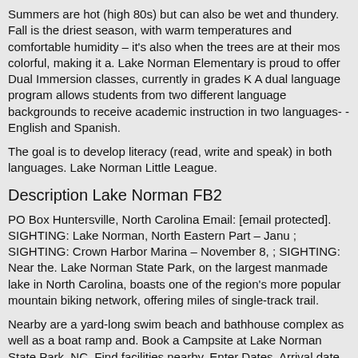Summers are hot (high 80s) but can also be wet and thundery. Fall is the driest season, with warm temperatures and comfortable humidity – it's also when the trees are at their most colorful, making it a. Lake Norman Elementary is proud to offer Dual Immersion classes, currently in grades K A dual language program allows students from two different language backgrounds to receive academic instruction in two languages--English and Spanish.

The goal is to develop literacy (read, write and speak) in both languages. Lake Norman Little League.
Description Lake Norman FB2
PO Box Huntersville, North Carolina Email: [email protected]. SIGHTING: Lake Norman, North Eastern Part – Janu ; SIGHTING: Crown Harbor Marina – November 8, ; SIGHTING: Near the. Lake Norman State Park, on the largest manmade lake in North Carolina, boasts one of the region's more popular mountain biking network, offering miles of single-track trail.
Nearby are a yard-long swim beach and bathhouse complex as well as a boat ramp and. Book a Campsite at Lake Norman State Park, NC. Find facilities nearby. Enter Dates. Arrival date Length of stay: Search Available Lake Norman Auditorium Half